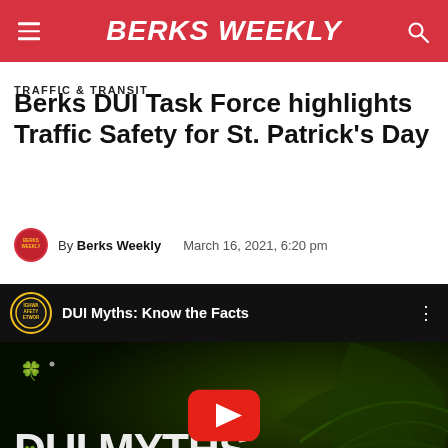BERKS WEEKLY
TRAFFIC & TRANSIT
Berks DUI Task Force highlights Traffic Safety for St. Patrick’s Day
By Berks Weekly   March 16, 2021, 6:20 pm
[Figure (screenshot): YouTube video embed showing 'DUI Myths: Know the Facts' with a Highway Safety Network channel icon, play button overlay, and a dark green themed thumbnail with text 'DUI MYTHS Know the Facts' and four-leaf clover decorations]